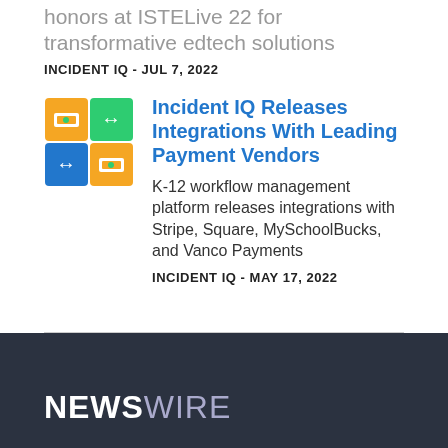honors at ISTELive 22 for transformative edtech solutions
INCIDENT IQ - JUL 7, 2022
[Figure (illustration): Payment integrations icon grid showing money/transfer symbols in green, yellow, blue squares]
Incident IQ Releases Integrations With Leading Payment Vendors
K-12 workflow management platform releases integrations with Stripe, Square, MySchoolBucks, and Vanco Payments
INCIDENT IQ - MAY 17, 2022
NEWSWIRE